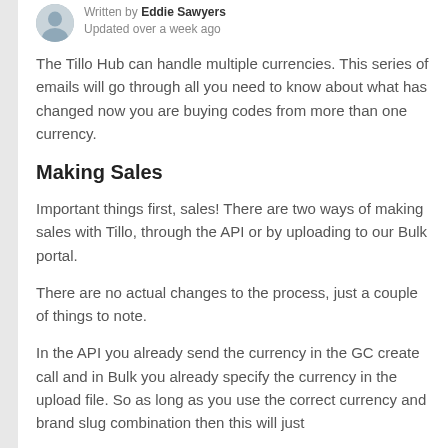Written by Eddie Sawyers
Updated over a week ago
The Tillo Hub can handle multiple currencies. This series of emails will go through all you need to know about what has changed now you are buying codes from more than one currency.
Making Sales
Important things first, sales! There are two ways of making sales with Tillo, through the API or by uploading to our Bulk portal.
There are no actual changes to the process, just a couple of things to note.
In the API you already send the currency in the GC create call and in Bulk you already specify the currency in the upload file. So as long as you use the correct currency and brand slug combination then this will just